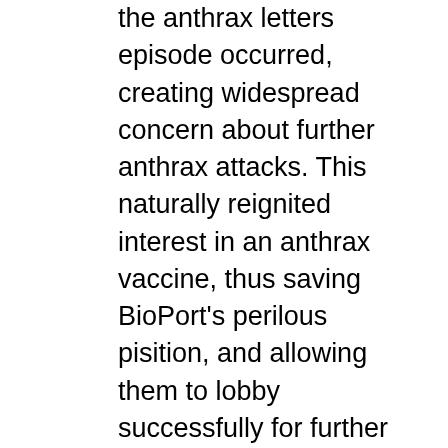the anthrax letters episode occurred, creating widespread concern about further anthrax attacks. This naturally reignited interest in an anthrax vaccine, thus saving BioPort's perilous pisition, and allowing them to lobby successfully for further vaccine contracts. In 2004 BioPort executives, perhaps fearing that the name was tainted, changed its name to "Emergent Biosolutions", and in recent weeks that company has gone into partnership with Novovax, and is making preparations to produce a COVID-19 vaccine. The scheme is apparently being strongly supported by the Coalition for Epidemic Preparedness Innovations (CEPI), which is backed by Bill Gates. The partnership has recently won a contract for blood plasma treatment which allows it access to the blood plasma from recovered COVID-19 patients, and some observers believe that it may be in pole position to dominate the US COVID-19